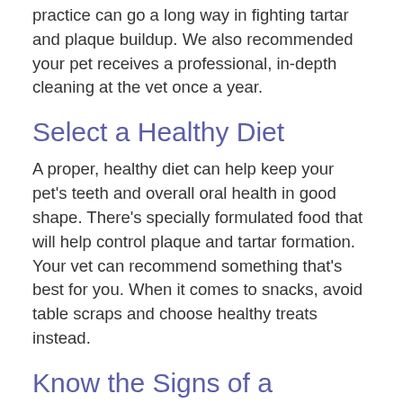practice can go a long way in fighting tartar and plaque buildup. We also recommended your pet receives a professional, in-depth cleaning at the vet once a year.
Select a Healthy Diet
A proper, healthy diet can help keep your pet's teeth and overall oral health in good shape. There's specially formulated food that will help control plaque and tartar formation. Your vet can recommend something that's best for you. When it comes to snacks, avoid table scraps and choose healthy treats instead.
Know the Signs of a Problem
Just like humans, sometimes our furry loved ones can succumb to an oral health problem. But since these members of our families can't talk and tell us when they're in pain, there are signs and symptoms all pet owners should know. Some signs of a dental concern